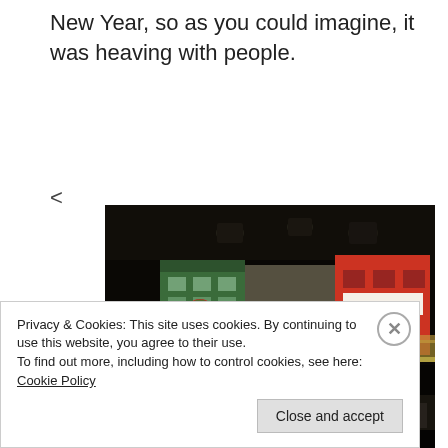New Year, so as you could imagine, it was heaving with people.
<
[Figure (photo): Nighttime street scene photographed from inside a bar or restaurant looking out onto a busy street. Crowds of people are visible in the foreground, with illuminated storefronts including a green building and a red building in the background. Decorative wreaths and hanging lights are visible. Signs include what appears to be Thai text.]
Privacy & Cookies: This site uses cookies. By continuing to use this website, you agree to their use.
To find out more, including how to control cookies, see here: Cookie Policy